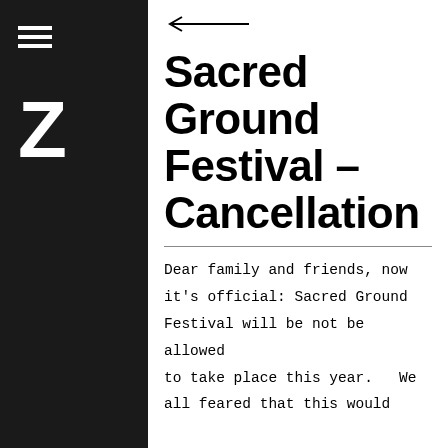[Figure (other): Dark sidebar with hamburger menu icon and large letter Z logo]
[Figure (other): Back arrow navigation element]
Sacred Ground Festival – Cancellation
Dear family and friends, now it's official: Sacred Ground Festival will be not be allowed to take place this year.  We all feared that this would